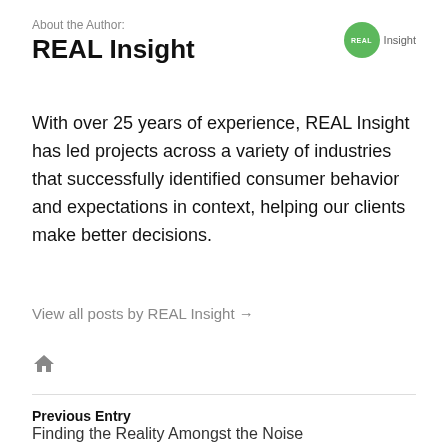About the Author:
REAL Insight
[Figure (logo): REAL Insight circular green logo badge with text 'REAL' in white and 'Insight' in gray beside it]
With over 25 years of experience, REAL Insight has led projects across a variety of industries that successfully identified consumer behavior and expectations in context, helping our clients make better decisions.
View all posts by REAL Insight →
[Figure (illustration): Home/house icon in gray]
Previous Entry
Finding the Reality Amongst the Noise